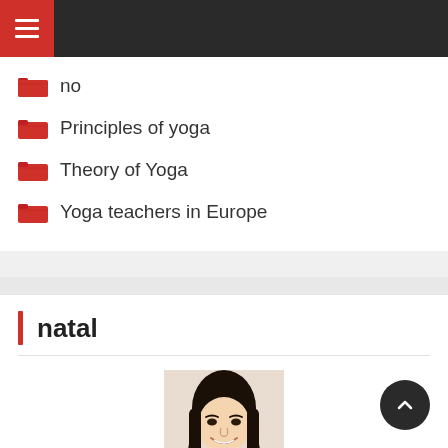Navigation menu
no
Principles of yoga
Theory of Yoga
Yoga teachers in Europe
natal
[Figure (photo): Portrait photo of a young woman with long dark hair, smiling, wearing a black top, against a light beige background]